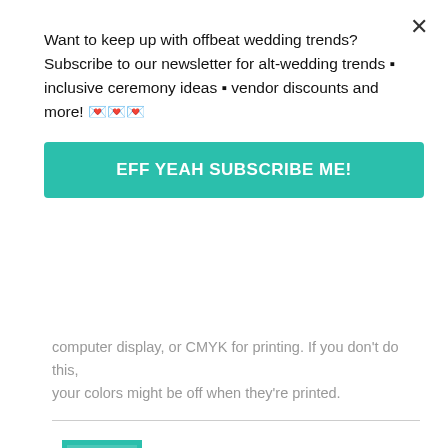Want to keep up with offbeat wedding trends?Subscribe to our newsletter for alt-wedding trends • inclusive ceremony ideas • vendor discounts and more! 💌💌💌
EFF YEAH SUBSCRIBE ME!
computer display, or CMYK for printing. If you don't do this, your colors might be off when they're printed.
C says:
Apr. 23, 2015 at 11:35 am
I used Inkscape for the first time to design my invites, and I loved it! (I was going to write up a post about the tools I'd used, but hey, this gives a wider range!)
I have used GIMP a fair bit in the past, so I was familiar with